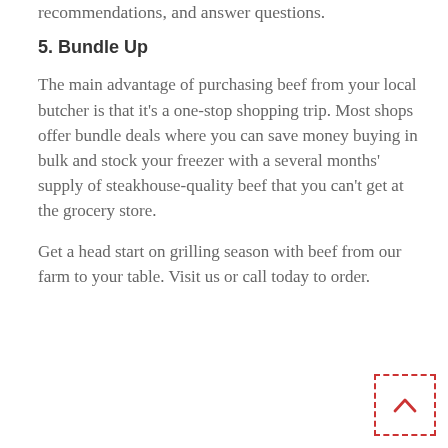recommendations, and answer questions.
5. Bundle Up
The main advantage of purchasing beef from your local butcher is that it's a one-stop shopping trip. Most shops offer bundle deals where you can save money buying in bulk and stock your freezer with a several months' supply of steakhouse-quality beef that you can't get at the grocery store.
Get a head start on grilling season with beef from our farm to your table. Visit us or call today to order.
[Figure (other): A scroll-to-top button with a dashed red border containing an upward chevron arrow icon]